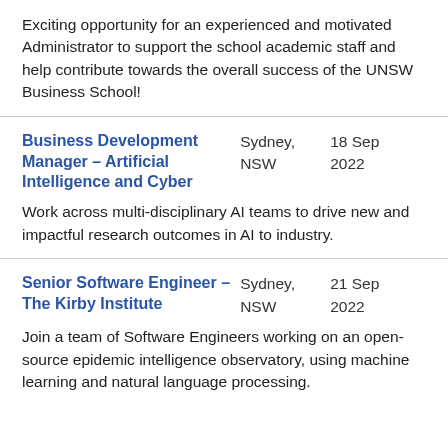Exciting opportunity for an experienced and motivated Administrator to support the school academic staff and help contribute towards the overall success of the UNSW Business School!
Business Development Manager – Artificial Intelligence and Cyber
Sydney, NSW    18 Sep 2022
Work across multi-disciplinary AI teams to drive new and impactful research outcomes in AI to industry.
Senior Software Engineer – The Kirby Institute
Sydney, NSW    21 Sep 2022
Join a team of Software Engineers working on an open-source epidemic intelligence observatory, using machine learning and natural language processing.